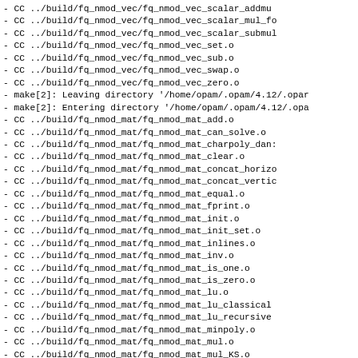-      CC    ../build/fq_nmod_vec/fq_nmod_vec_scalar_addmu
-      CC    ../build/fq_nmod_vec/fq_nmod_vec_scalar_mul_fo
-      CC    ../build/fq_nmod_vec/fq_nmod_vec_scalar_submul
-      CC    ../build/fq_nmod_vec/fq_nmod_vec_set.o
-      CC    ../build/fq_nmod_vec/fq_nmod_vec_sub.o
-      CC    ../build/fq_nmod_vec/fq_nmod_vec_swap.o
-      CC    ../build/fq_nmod_vec/fq_nmod_vec_zero.o
- make[2]: Leaving directory '/home/opam/.opam/4.12/.opar
- make[2]: Entering directory '/home/opam/.opam/4.12/.opa
-      CC    ../build/fq_nmod_mat/fq_nmod_mat_add.o
-      CC    ../build/fq_nmod_mat/fq_nmod_mat_can_solve.o
-      CC    ../build/fq_nmod_mat/fq_nmod_mat_charpoly_dan:
-      CC    ../build/fq_nmod_mat/fq_nmod_mat_clear.o
-      CC    ../build/fq_nmod_mat/fq_nmod_mat_concat_horizo
-      CC    ../build/fq_nmod_mat/fq_nmod_mat_concat_vertic
-      CC    ../build/fq_nmod_mat/fq_nmod_mat_equal.o
-      CC    ../build/fq_nmod_mat/fq_nmod_mat_fprint.o
-      CC    ../build/fq_nmod_mat/fq_nmod_mat_init.o
-      CC    ../build/fq_nmod_mat/fq_nmod_mat_init_set.o
-      CC    ../build/fq_nmod_mat/fq_nmod_mat_inlines.o
-      CC    ../build/fq_nmod_mat/fq_nmod_mat_inv.o
-      CC    ../build/fq_nmod_mat/fq_nmod_mat_is_one.o
-      CC    ../build/fq_nmod_mat/fq_nmod_mat_is_zero.o
-      CC    ../build/fq_nmod_mat/fq_nmod_mat_lu.o
-      CC    ../build/fq_nmod_mat/fq_nmod_mat_lu_classical
-      CC    ../build/fq_nmod_mat/fq_nmod_mat_lu_recursive
-      CC    ../build/fq_nmod_mat/fq_nmod_mat_minpoly.o
-      CC    ../build/fq_nmod_mat/fq_nmod_mat_mul.o
-      CC    ../build/fq_nmod_mat/fq_nmod_mat_mul_KS.o
-      CC    ../build/fq_nmod_mat/fq_nmod_mat_mul_classica